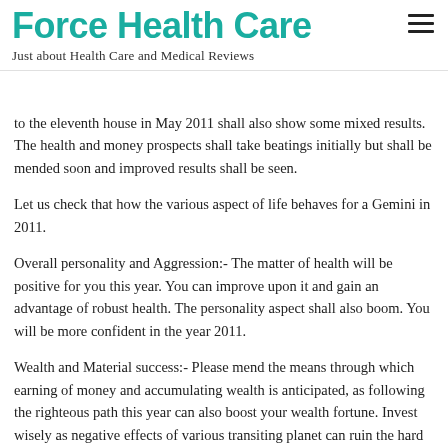Force Health Care
Just about Health Care and Medical Reviews
to the eleventh house in May 2011 shall also show some mixed results. The health and money prospects shall take beatings initially but shall be mended soon and improved results shall be seen.
Let us check that how the various aspect of life behaves for a Gemini in 2011.
Overall personality and Aggression:- The matter of health will be positive for you this year. You can improve upon it and gain an advantage of robust health. The personality aspect shall also boom. You will be more confident in the year 2011.
Wealth and Material success:- Please mend the means through which earning of money and accumulating wealth is anticipated, as following the righteous path this year can also boost your wealth fortune. Invest wisely as negative effects of various transiting planet can ruin the hard earn fortune.